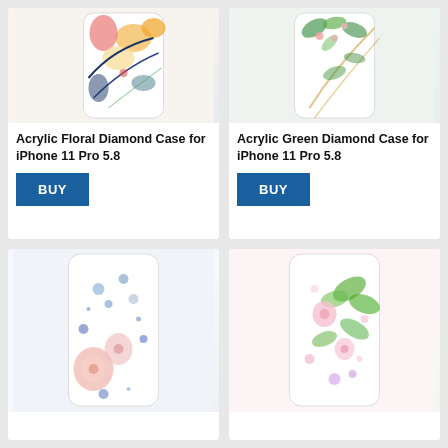[Figure (photo): Acrylic Floral Diamond Case for iPhone 11 Pro 5.8 - phone case with colorful floral design, yellow and blue flowers on clear background]
[Figure (photo): Acrylic Green Diamond Case for iPhone 11 Pro 5.8 - phone case with green leaves and small pink flowers on clear background]
Acrylic Floral Diamond Case for iPhone 11 Pro 5.8
Acrylic Green Diamond Case for iPhone 11 Pro 5.8
BUY
BUY
[Figure (photo): Phone case with pink and blue floral watercolor design on clear/white background]
[Figure (photo): Phone case with pink flowers and green leaves design on clear background]